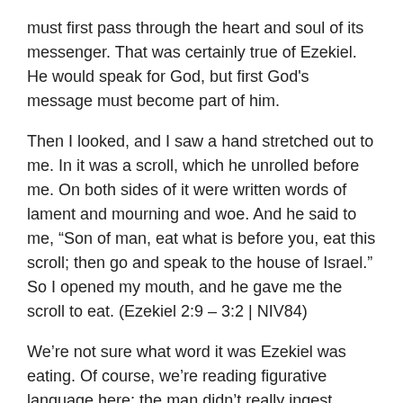must first pass through the heart and soul of its messenger. That was certainly true of Ezekiel. He would speak for God, but first God's message must become part of him.
Then I looked, and I saw a hand stretched out to me. In it was a scroll, which he unrolled before me. On both sides of it were written words of lament and mourning and woe. And he said to me, “Son of man, eat what is before you, eat this scroll; then go and speak to the house of Israel.” So I opened my mouth, and he gave me the scroll to eat. (Ezekiel 2:9 – 3:2 | NIV84)
We’re not sure what word it was Ezekiel was eating. Of course, we’re reading figurative language here; the man didn’t really ingest scrolls. Some scholars think he was given Jeremiah’s prophecies to “eat,” or perhaps the